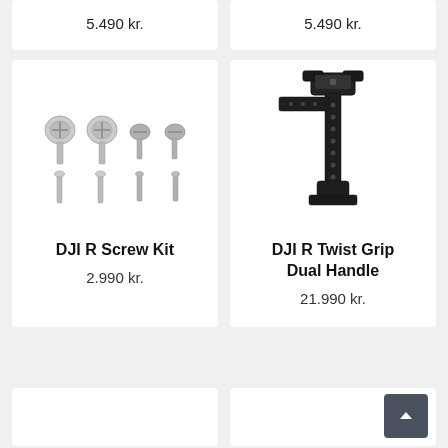5.490 kr.
5.490 kr.
[Figure (photo): DJI R Screw Kit - set of 8 screws, 4 with round heads and 4 smaller screws]
DJI R Screw Kit
2.990 kr.
[Figure (photo): DJI R Twist Grip Dual Handle - black L-shaped handle with grip mechanism]
DJI R Twist Grip Dual Handle
21.990 kr.
[Figure (other): Bottom left partial product card]
[Figure (other): Bottom right partial product card with back-to-top button]